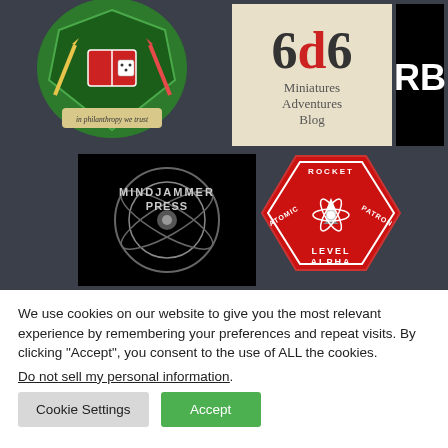[Figure (logo): Top row of sponsor/partner logos on dark background: charity/education crest with 'in philanthropy we trust', 6d6 Miniatures Adventures Blog logo, RB logo in black/white. Bottom row: Mindjammer Press logo (black square with circular emblem), Atomic Rocket Patron Level Alpha hexagonal red badge.]
We use cookies on our website to give you the most relevant experience by remembering your preferences and repeat visits. By clicking “Accept”, you consent to the use of ALL the cookies.
Do not sell my personal information.
Cookie Settings
Accept